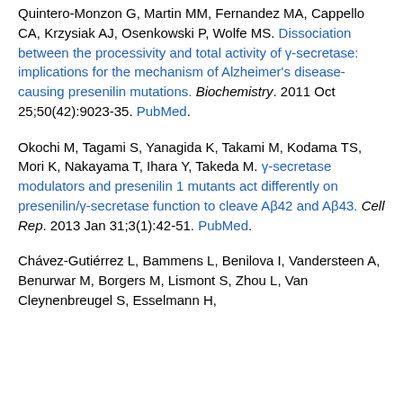Quintero-Monzon G, Martin MM, Fernandez MA, Cappello CA, Krzysiak AJ, Osenkowski P, Wolfe MS. Dissociation between the processivity and total activity of γ-secretase: implications for the mechanism of Alzheimer's disease-causing presenilin mutations. Biochemistry. 2011 Oct 25;50(42):9023-35. PubMed.
Okochi M, Tagami S, Yanagida K, Takami M, Kodama TS, Mori K, Nakayama T, Ihara Y, Takeda M. γ-secretase modulators and presenilin 1 mutants act differently on presenilin/γ-secretase function to cleave Aβ42 and Aβ43. Cell Rep. 2013 Jan 31;3(1):42-51. PubMed.
Chávez-Gutiérrez L, Bammens L, Benilova I, Vandersteen A, Benurwar M, Borgers M, Lismont S, Zhou L, Van Cleynenbreugel S, Esselmann H,